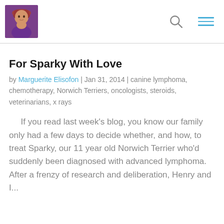[Figure (photo): Profile photo of a woman with red hair wearing a purple top, used as blog avatar/logo in the page header.]
For Sparky With Love
by Marguerite Elisofon | Jan 31, 2014 | canine lymphoma, chemotherapy, Norwich Terriers, oncologists, steroids, veterinarians, x rays
If you read last week’s blog, you know our family only had a few days to decide whether, and how, to treat Sparky, our 11 year old Norwich Terrier who’d suddenly been diagnosed with advanced lymphoma.  After a frenzy of research and deliberation, Henry and I...